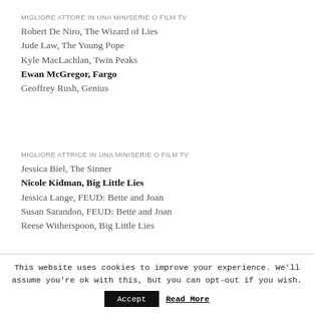MIGLIORE ATTORE IN UNA MINISERIE O FILM TV
Robert De Niro, The Wizard of Lies
Jude Law, The Young Pope
Kyle MacLachlan, Twin Peaks
Ewan McGregor, Fargo
Geoffrey Rush, Genius
MIGLIORE ATTRICE IN UNA MINISERIE O FILM TV
Jessica Biel, The Sinner
Nicole Kidman, Big Little Lies
Jessica Lange, FEUD: Bette and Joan
Susan Sarandon, FEUD: Bette and Joan
Reese Witherspoon, Big Little Lies
This website uses cookies to improve your experience. We'll assume you're ok with this, but you can opt-out if you wish.